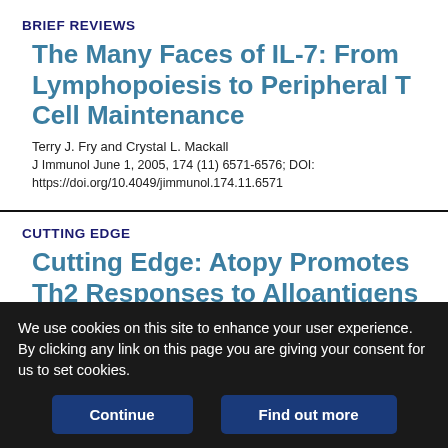BRIEF REVIEWS
The Many Faces of IL-7: From Lymphopoiesis to Peripheral T Cell Maintenance
Terry J. Fry and Crystal L. Mackall
J Immunol June 1, 2005, 174 (11) 6571-6576; DOI: https://doi.org/10.4049/jimmunol.174.11.6571
CUTTING EDGE
Cutting Edge: Atopy Promotes Th2 Responses to Alloantigens
We use cookies on this site to enhance your user experience. By clicking any link on this page you are giving your consent for us to set cookies.